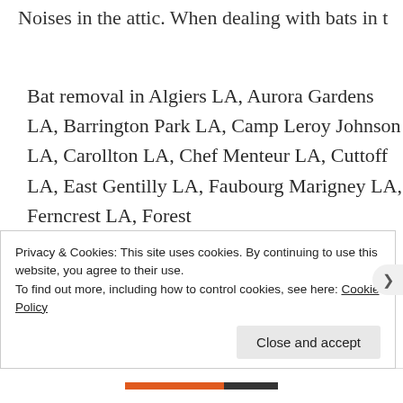Noises in the attic. When dealing with bats in t
Bat removal in Algiers LA, Aurora Gardens LA, Barrington Park LA, Camp Leroy Johnson LA, Carollton LA, Chef Menteur LA, Cuttoff LA, East Gentilly LA, Faubourg Marigney LA, Ferncrest LA, Forest
Privacy & Cookies: This site uses cookies. By continuing to use this website, you agree to their use.
To find out more, including how to control cookies, see here: Cookie Policy
Close and accept